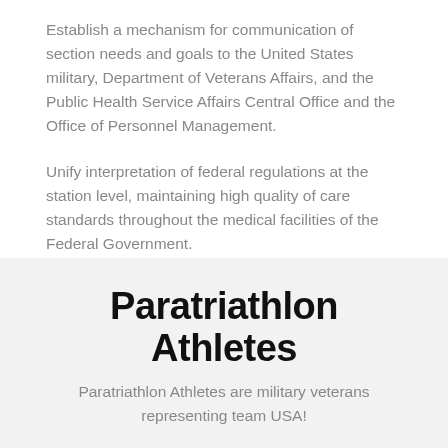Establish a mechanism for communication of section needs and goals to the United States military, Department of Veterans Affairs, and the Public Health Service Affairs Central Office and the Office of Personnel Management.
Unify interpretation of federal regulations at the station level, maintaining high quality of care standards throughout the medical facilities of the Federal Government.
Paratriathlon Athletes
Paratriathlon Athletes are military veterans representing team USA!